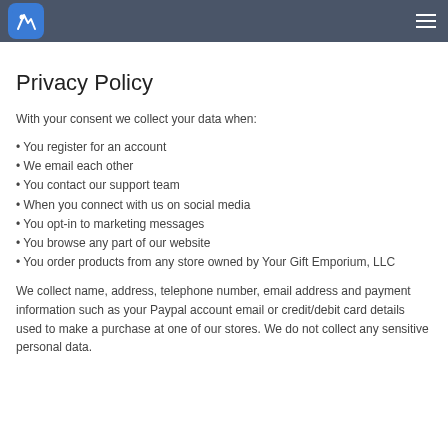Privacy Policy
With your consent we collect your data when:
You register for an account
We email each other
You contact our support team
When you connect with us on social media
You opt-in to marketing messages
You browse any part of our website
You order products from any store owned by Your Gift Emporium, LLC
We collect name, address, telephone number, email address and payment information such as your Paypal account email or credit/debit card details used to make a purchase at one of our stores. We do not collect any sensitive personal data.